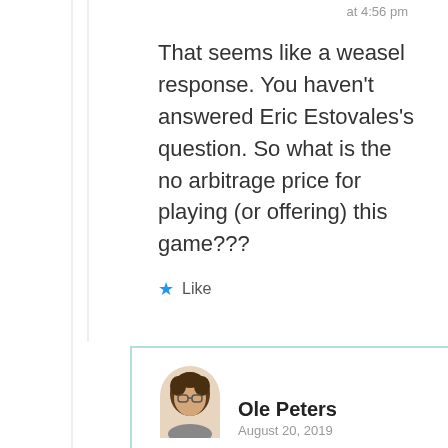at 4:56 pm
That seems like a weasel response. You haven't answered Eric Estovales's question. So what is the no arbitrage price for playing (or offering) this game???
★ Like
Ole Peters
August 20, 2019